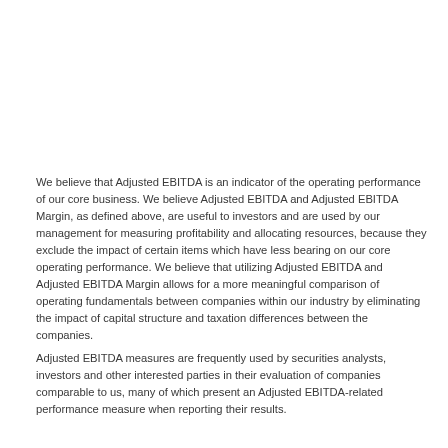We believe that Adjusted EBITDA is an indicator of the operating performance of our core business. We believe Adjusted EBITDA and Adjusted EBITDA Margin, as defined above, are useful to investors and are used by our management for measuring profitability and allocating resources, because they exclude the impact of certain items which have less bearing on our core operating performance. We believe that utilizing Adjusted EBITDA and Adjusted EBITDA Margin allows for a more meaningful comparison of operating fundamentals between companies within our industry by eliminating the impact of capital structure and taxation differences between the companies.
Adjusted EBITDA measures are frequently used by securities analysts, investors and other interested parties in their evaluation of companies comparable to us, many of which present an Adjusted EBITDA-related performance measure when reporting their results.